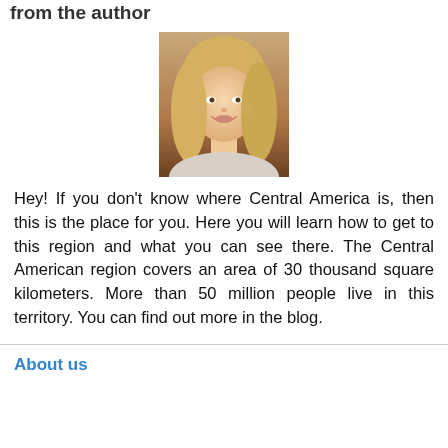from the author
[Figure (photo): Headshot photo of a smiling blonde woman, centered on the page]
Hey! If you don't know where Central America is, then this is the place for you. Here you will learn how to get to this region and what you can see there. The Central American region covers an area of 30 thousand square kilometers. More than 50 million people live in this territory. You can find out more in the blog.
About us